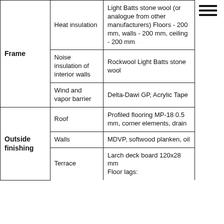| Category | Sub-category | Details |
| --- | --- | --- |
| Frame | Heat insulation | Light Batts stone wool (or analogue from other manufacturers) Floors - 200 mm, walls - 200 mm, ceiling - 200 mm |
| Frame | Noise insulation of interior walls | Rockwool Light Batts stone wool |
| Frame | Wind and vapor barrier | Delta-Dawi GP, Acrylic Tape |
| Outside finishing | Roof | Profiled flooring MP-18 0.5 mm, corner elements, drain |
| Outside finishing | Walls | MDVP, softwood planken, oil |
| Outside finishing | Terrace | Larch deck board 120x28 mm
Floor lags: ... |
[Figure (other): Hamburger menu icon (three horizontal lines) in top right corner]